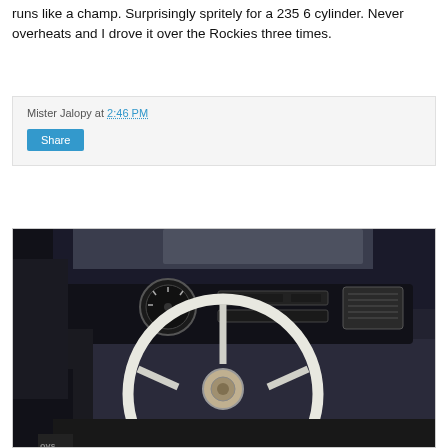runs like a champ. Surprisingly spritely for a 235 6 cylinder. Never overheats and I drove it over the Rockies three times.
Mister Jalopy at 2:46 PM
Share
[Figure (photo): Interior of a vintage car showing a white steering wheel, dashboard with gauges and radio, and a wooden/red gear shift knob in the foreground.]